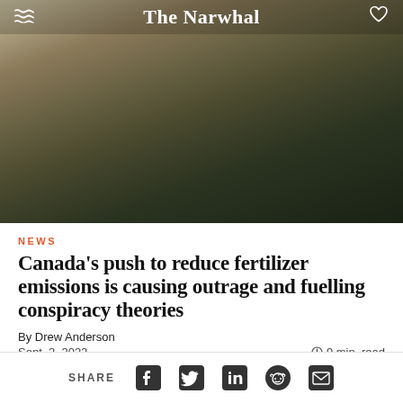The Narwhal
[Figure (photo): Blurred outdoor landscape photo with dark green and brown tones, serving as hero image for the article]
NEWS
Canada’s push to reduce fertilizer emissions is causing outrage and fuelling conspiracy theories
By Drew Anderson
Sept. 2, 2022   ⌚ 9 min. read
Is there a globalist plot to starve us into submission
SHARE